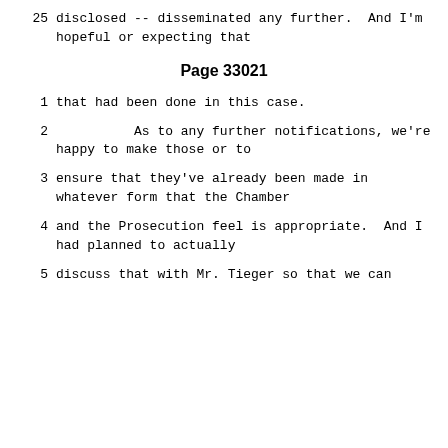25     disclosed -- disseminated any further.  And I'm hopeful or expecting that
Page 33021
1      that had been done in this case.
2               As to any further notifications, we're happy to make those or to
3      ensure that they've already been made in whatever form that the Chamber
4      and the Prosecution feel is appropriate.  And I had planned to actually
5      discuss that with Mr. Tieger so that we can